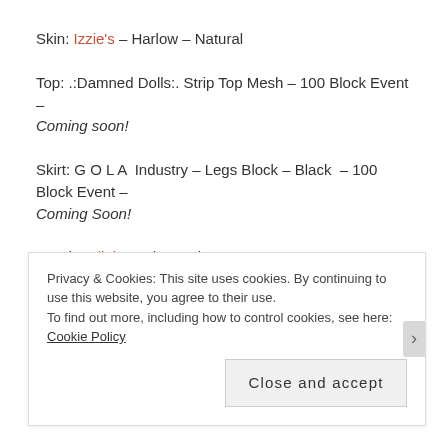Skin: Izzie's – Harlow – Natural
Top: .:Damned Dolls:. Strip Top Mesh – 100 Block Event – Coming soon!
Skirt: G O L A  Industry – Legs Block – Black – 100 Block Event – Coming Soon!
Hands: Slink Mesh Hands
Rings: Maxi Gossamer – Roho – Gold/Silver
Privacy & Cookies: This site uses cookies. By continuing to use this website, you agree to their use. To find out more, including how to control cookies, see here: Cookie Policy
Close and accept